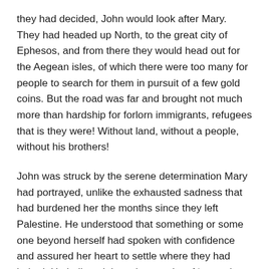they had decided, John would look after Mary. They had headed up North, to the great city of Ephesos, and from there they would head out for the Aegean isles, of which there were too many for people to search for them in pursuit of a few gold coins. But the road was far and brought not much more than hardship for forlorn immigrants, refugees that is they were! Without land, without a people, without his brothers!
John was struck by the serene determination Mary had portrayed, unlike the exhausted sadness that had burdened her the months since they left Palestine. He understood that something or some one beyond herself had spoken with confidence and assured her heart to settle where they had halted. He believed that when spoke of ‘preparing a home’ she had meant he should build permanent lodging, and so he started collecting the stones and trunks, to build a house for Mary. It was only later, years later, and not without humoring himself, that he recalled her words and finally understood